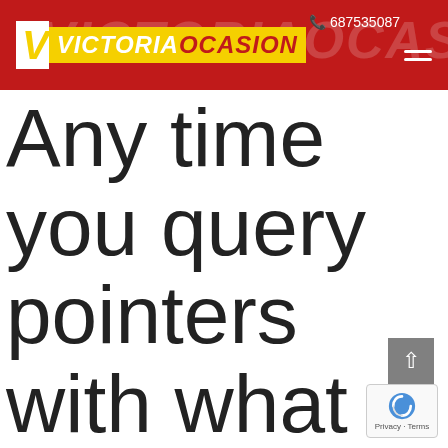[Figure (logo): VictoriaOcasion logo on red header bar with phone number 687535087 and hamburger menu icon]
Any time you query pointers with what mature